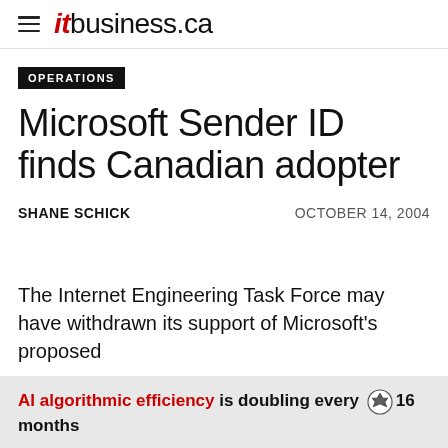itbusiness.ca
OPERATIONS
Microsoft Sender ID finds Canadian adopter
SHANE SCHICK    OCTOBER 14, 2004
The Internet Engineering Task Force may have withdrawn its support of Microsoft's proposed
AI algorithmic efficiency is doubling every 16 months